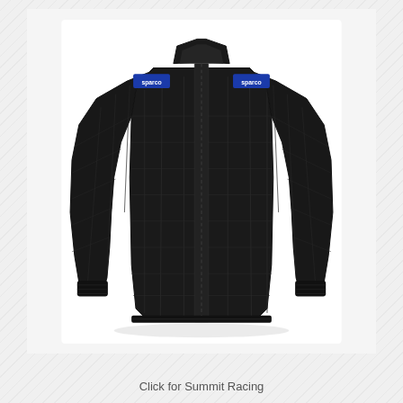[Figure (photo): Black Sparco racing jacket (fire suit top) displayed on a white background. The jacket is black with quilted/padded panels, blue Sparco logo patches on both shoulders, a mandarin/stand-up collar, and ribbed cuffs. The jacket appears to be a professional motorsport fire-resistant garment.]
Click for Summit Racing